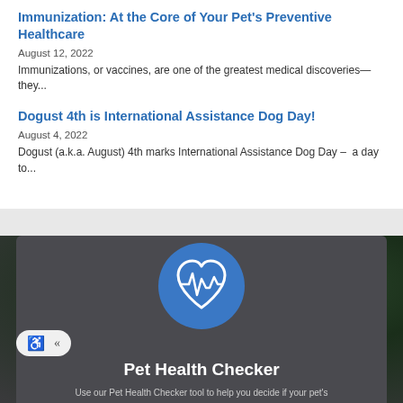Immunization: At the Core of Your Pet's Preventive Healthcare
August 12, 2022
Immunizations, or vaccines, are one of the greatest medical discoveries—they...
Dogust 4th is International Assistance Dog Day!
August 4, 2022
Dogust (a.k.a. August) 4th marks International Assistance Dog Day – a day to...
[Figure (illustration): Blue circle with white heart and heartbeat/pulse line icon representing pet health monitoring]
Pet Health Checker
Use our Pet Health Checker tool to help you decide if your pet's